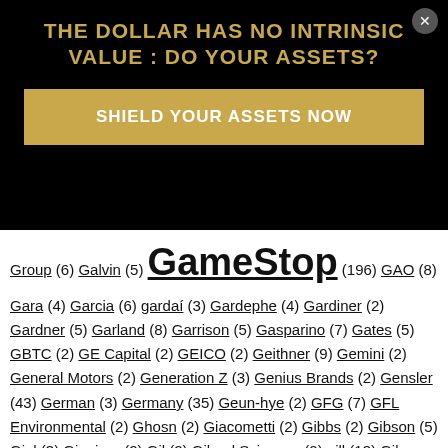[Figure (other): Advertisement overlay with black background, gold title 'THE DOLLAR HAS NO INTRINSIC VALUE : DO YOUR ASSETS?' and gold button 'SHIELD YOUR ASSETS NOW']
Group (6) Galvin (5) GameStop (196) GAO (8) Gara (4) Garcia (6) gardaí (3) Gardephe (4) Gardiner (2) Gardner (5) Garland (8) Garrison (5) Gasparino (7) Gates (5) GBTC (2) GE Capital (2) GEICO (2) Geithner (9) Gemini (2) General Motors (2) Generation Z (3) Genius Brands (2) Gensler (43) German (3) Germany (35) Geun-hye (2) GFG (7) GFL Environmental (2) Ghosn (2) Giacometti (2) Gibbs (2) Gibson (5) Giel (3) Giguiere (2) Gil (2) Gilead Sciences (2) gill (13) Gilman (2) Gira (2) Giuffre (2) Glancy Prongay & Murray (3) Glass Houses (2) Glencore (4) GLHAU (2) Glimcher (2) Global Links (8) Global Tech (2) GME (24) Goldberg (2) Golden State (2) Goldman (3) Goldman Sachs (254) Goldstein (13) Gonzalez (9) Gonçalves (2) Goodman (2) Google (7) Gordon (7) Gorman (4) Gottschall (3) Gottstein (7) Gradient Analytics (5)